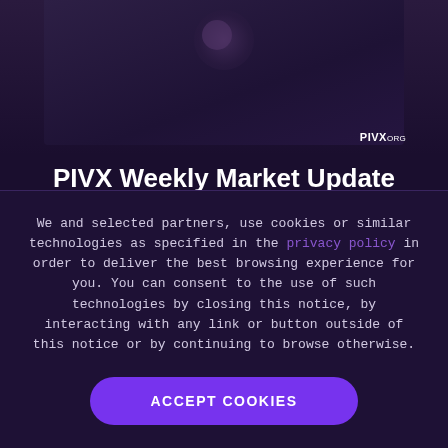[Figure (screenshot): Top banner image area with dark purple gradient background and PIVX.ORG logo watermark in the bottom right corner]
PIVX Weekly Market Update (April 15th, 2021 - April 22nd, 2021)
We and selected partners, use cookies or similar technologies as specified in the privacy policy in order to deliver the best browsing experience for you. You can consent to the use of such technologies by closing this notice, by interacting with any link or button outside of this notice or by continuing to browse otherwise.
ACCEPT COOKIES